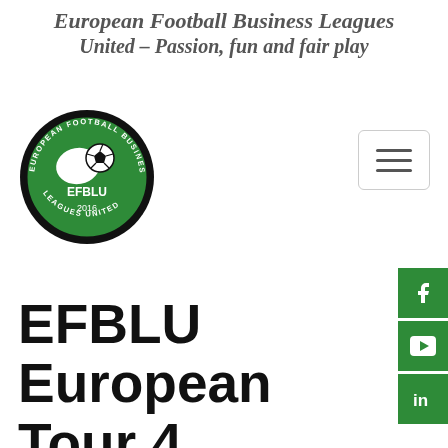European Football Business Leagues United – Passion, fun and fair play
[Figure (logo): EFBLU circular logo with green background, Europe map silhouette, football, text 'EUROPEAN FOOTBALL BUSINESS LEAGUES UNITED', 'EFBLU', '2016']
EFBLU European Tour 4